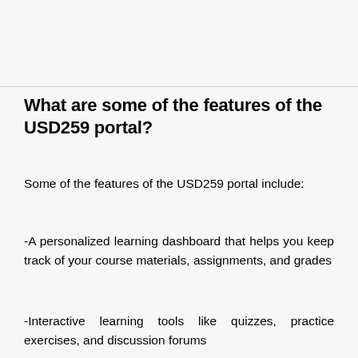What are some of the features of the USD259 portal?
Some of the features of the USD259 portal include:
-A personalized learning dashboard that helps you keep track of your course materials, assignments, and grades
-Interactive learning tools like quizzes, practice exercises, and discussion forums